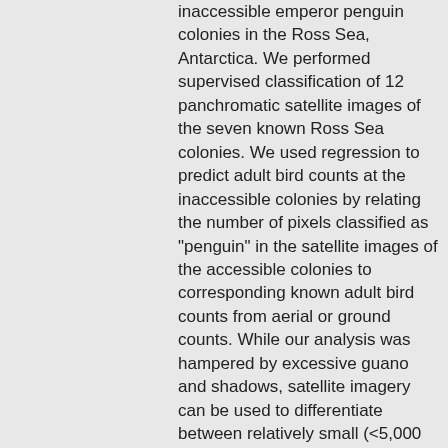inaccessible emperor penguin colonies in the Ross Sea, Antarctica. We performed supervised classification of 12 panchromatic satellite images of the seven known Ross Sea colonies. We used regression to predict adult bird counts at the inaccessible colonies by relating the number of pixels classified as "penguin" in the satellite images of the accessible colonies to corresponding known adult bird counts from aerial or ground counts. While our analysis was hampered by excessive guano and shadows, satellite imagery can be used to differentiate between relatively small (<5,000 adult birds) and larger colonies (>5,000 adult birds). Remote sensing technology is logistically less intense and less costly than aerial or ground censuses and is useful in documenting large emperor penguin population changes. 6th International Penguin Conference LANDSCAPE EFFECTS ON THE DISTRIBUTION OF ADÉLIE PENGUIN COLONIES AT CASEY, EAST ANTARCTICA PHILLIPPA K. BRICHER*, ERIC J. WOEHLER** &